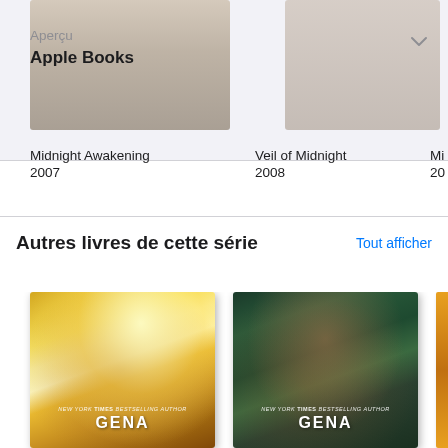Aperçu
Apple Books
Midnight Awakening
2007
Veil of Midnight
2008
Mid
20
Autres livres de cette série
Tout afficher
[Figure (illustration): Book cover with golden tones showing a figure, text reads NEW YORK TIMES BESTSELLING AUTHOR GENA]
[Figure (illustration): Book cover with teal/dark tones showing two figures embracing, text reads NEW YORK TIMES BESTSELLING AUTHOR GENA]
[Figure (illustration): Partial third book cover visible at right edge, golden/orange tones]